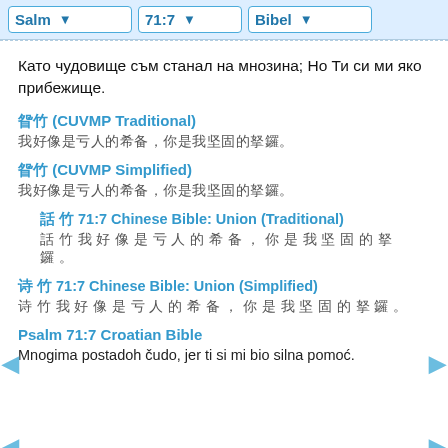Salm | 71:7 | Bibel
Като чудовище съм станал на мнозина; Но Ти си ми яко прибежище.
诗篇 (CUVMP Traditional)
我好像是众人的希奇，你是我坚固的投靠。
诗篇 (CUVMP Simplified)
我好像是众人的希奇，你是我坚固的投靠。
詩 篇 71:7 Chinese Bible: Union (Traditional)
我 好 像 是 众 人 的 希 奇 ， 你 是 我 坚 固 的 投 靠 。
诗 篇 71:7 Chinese Bible: Union (Simplified)
我 好 像 是 众 人 的 希 奇 ， 你 是 我 坚 固 的 投 靠 。
Psalm 71:7 Croatian Bible
Mnogima postadoh čudo, jer ti si mi bio silna pomoć.